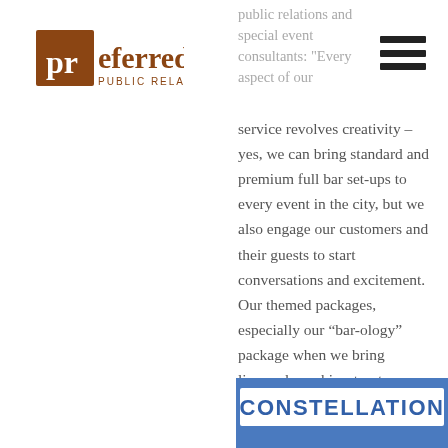public relations and special event consultants: "Every aspect of our
[Figure (logo): Preferred Public Relations logo with 'pr' in white on brown square and 'eferred' in brown serif text, 'PUBLIC RELATIONS' below]
service revolves creativity – yes, we can bring standard and premium full bar set-ups to every event in the city, but we also engage our customers and their guests to start conversations and excitement.  Our themed packages, especially our “bar-ology” package when we bring licensed psychics, tarot readers, and showcase our astrological drink line – and other specialty themes is what gets the party-started!" she said.
[Figure (photo): Photo of a blue building exterior with a white banner reading CONSTELLATION]